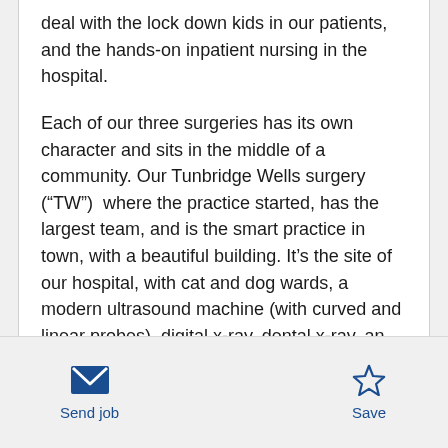deal with the lock down kids in our patients, and the hands-on inpatient nursing in the hospital.
Each of our three surgeries has its own character and sits in the middle of a community. Our Tunbridge Wells surgery (“TW”)  where the practice started, has the largest team, and is the smart practice in town, with a beautiful building. It’s the site of our hospital, with cat and dog wards, a modern ultrasound machine (with curved and linear probes), digital x-ray, dental x-ray, an exciting new dental machine (the not so accurately named Silent Hurricane!), scopes and a well-equipped lab (including the much-loved-by-our-
Send job   Save